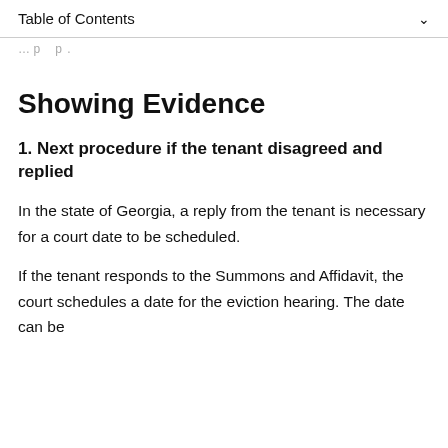Table of Contents
Showing Evidence
1. Next procedure if the tenant disagreed and replied
In the state of Georgia, a reply from the tenant is necessary for a court date to be scheduled.
If the tenant responds to the Summons and Affidavit, the court schedules a date for the eviction hearing. The date can be